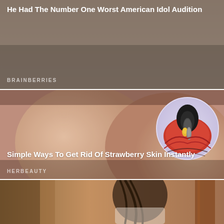[Figure (photo): Advertisement card with brownish-gray background showing partial article title 'He Had The Number One Worst American Idol Audition' and source label BRAINBERRIES]
He Had The Number One Worst American Idol Audition
BRAINBERRIES
[Figure (photo): Advertisement card showing close-up of skin/thighs with a circular medical illustration of a hair follicle/pore cross-section in the upper right. Title: 'Simple Ways To Get Rid Of Strawberry Skin Instantly'. Source: HERBEAUTY]
Simple Ways To Get Rid Of Strawberry Skin Instantly
HERBEAUTY
[Figure (photo): Partial advertisement card at bottom showing a person with dark hair in a warm indoor setting]